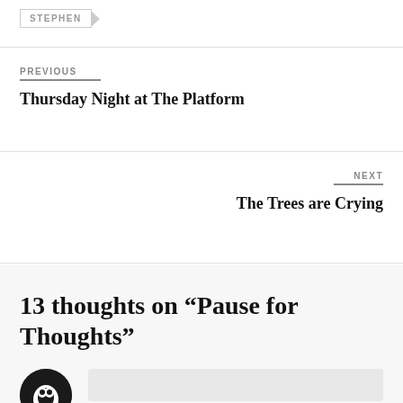STEPHEN
PREVIOUS
Thursday Night at The Platform
NEXT
The Trees are Crying
13 thoughts on “Pause for Thoughts”